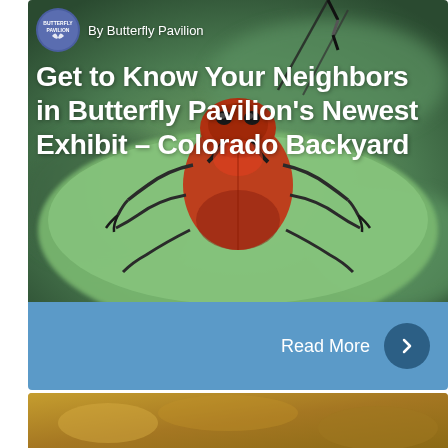[Figure (photo): Close-up macro photo of a red/orange beetle insect viewed from the front, resting on a green leaf. Background is blurred green tones.]
By Butterfly Pavilion
Get to Know Your Neighbors in Butterfly Pavilion's Newest Exhibit – Colorado Backyard
Read More
[Figure (photo): Partial view of a second card/article image at the bottom of the page, showing warm amber/golden tones.]